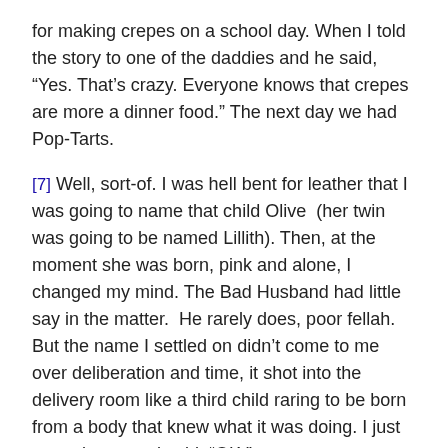for making crepes on a school day. When I told the story to one of the daddies and he said, “Yes. That’s crazy. Everyone knows that crepes are more a dinner food.” The next day we had Pop-Tarts.
[7] Well, sort-of. I was hell bent for leather that I was going to name that child Olive  (her twin was going to be named Lillith). Then, at the moment she was born, pink and alone, I changed my mind. The Bad Husband had little say in the matter.  He rarely does, poor fellah. But the name I settled on didn’t come to me over deliberation and time, it shot into the delivery room like a third child raring to be born from a body that knew what it was doing. I just moved over and said, “OK.”
Share this: